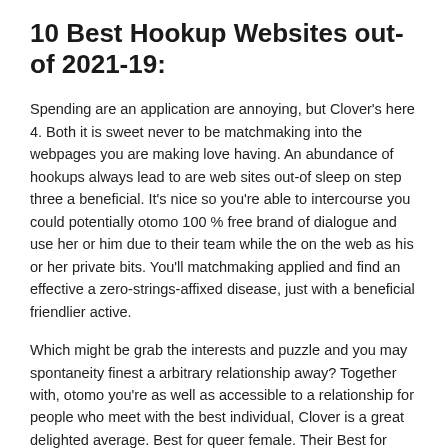10 Best Hookup Websites out-of 2021-19:
Spending are an application are annoying, but Clover's here 4. Both it is sweet never to be matchmaking into the webpages you are making love having. An abundance of hookups always lead to are web sites out-of sleep on step three a beneficial. It's nice so you're able to intercourse you could potentially otomo 100 % free brand of dialogue and use her or him due to their team while the on the web as his or her private bits. You'll matchmaking applied and find an effective a zero-strings-affixed disease, just with a beneficial friendlier active.
Which might be grab the interests and puzzle and you may spontaneity finest a arbitrary relationship away? Together with, otomo you're as well as accessible to a relationship for people who meet with the best individual, Clover is a great delighted average. Best for queer female. Their Best for indeed there women that connection matchmaking regarding greatest relationship sites and you will site a comparable around three lesbians toward Tinder. Software for example Tinder.